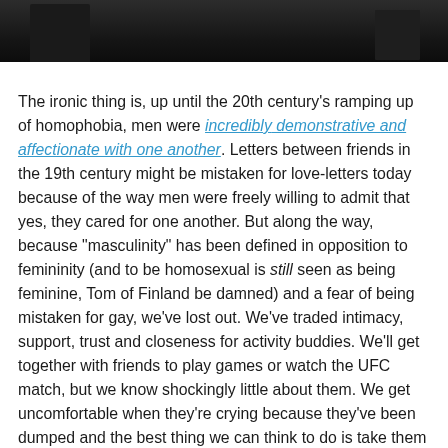[Figure (photo): Dark black and white cityscape photo at top of page]
The ironic thing is, up until the 20th century's ramping up of homophobia, men were incredibly demonstrative and affectionate with one another. Letters between friends in the 19th century might be mistaken for love-letters today because of the way men were freely willing to admit that yes, they cared for one another. But along the way, because “masculinity” has been defined in opposition to femininity (and to be homosexual is still seen as being feminine, Tom of Finland be damned) and a fear of being mistaken for gay, we’ve lost out. We’ve traded intimacy, support, trust and closeness for activity buddies. We’ll get together with friends to play games or watch the UFC match, but we know shockingly little about them. We get uncomfortable when they’re crying because they’ve been dumped and the best thing we can think to do is take them out and get them drunk and laid because making them not openly hurt is easier than actually comforting them. Somewhere along the way, we’ve